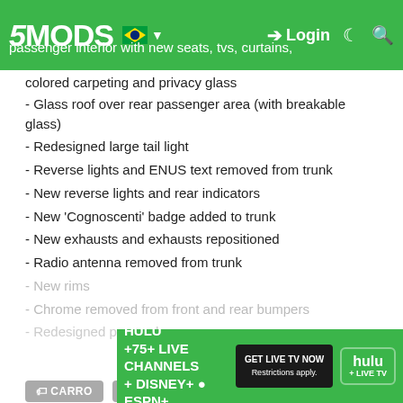5MODS - Login
passenger interior with new seats, tvs, curtains, colored carpeting and privacy glass
- Glass roof over rear passenger area (with breakable glass)
- Redesigned large tail light
- Reverse lights and ENUS text removed from trunk
- New reverse lights and rear indicators
- New 'Cognoscenti' badge added to trunk
- New exhausts and exhausts repositioned
- Radio antenna removed from trunk
- New rims
- Chrome removed from front and rear bumpers
- Redesigned paint scheme
Show Full Description
CARRO   EDIÇÃO BÁSICA
Primeiro envio: 01 de Maio de 2018
Último envio: 01 de Maio de 2018
Último